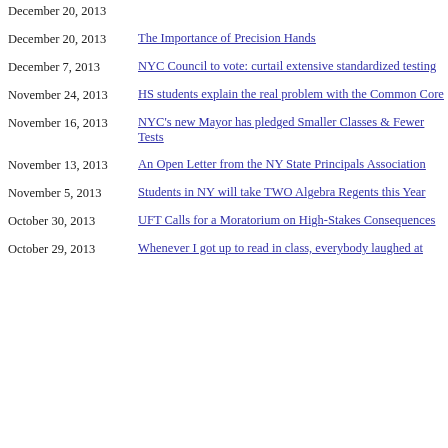December 20, 2013 | The Importance of Precision Hands
December 7, 2013 | NYC Council to vote: curtail extensive standardized testing
November 24, 2013 | HS students explain the real problem with the Common Core
November 16, 2013 | NYC's new Mayor has pledged Smaller Classes & Fewer Tests
November 13, 2013 | An Open Letter from the NY State Principals Association
November 5, 2013 | Students in NY will take TWO Algebra Regents this Year
October 30, 2013 | UFT Calls for a Moratorium on High-Stakes Consequences
October 29, 2013 | Whenever I got up to read in class, everybody laughed at